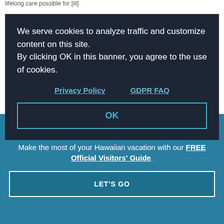lifelong care possible for [ill]
[Figure (screenshot): Cookie consent modal dialog on dark background with text: We serve cookies to analyze traffic and customize content on this site. By clicking OK in this banner, you agree to the use of cookies. Links to Privacy Policy and GDPR FAQ, and an OK button.]
[Figure (photo): Partial beach/coastal photo with tropical greenery and blue water visible behind overlays]
BACK
TO
TOP
[Figure (screenshot): Teal promotional banner overlay: Dream It. Do it. Make the most of your Hawaiian vacation with our FREE Official Visitors' Guide. LET'S GO button. Close (×) button in top right.]